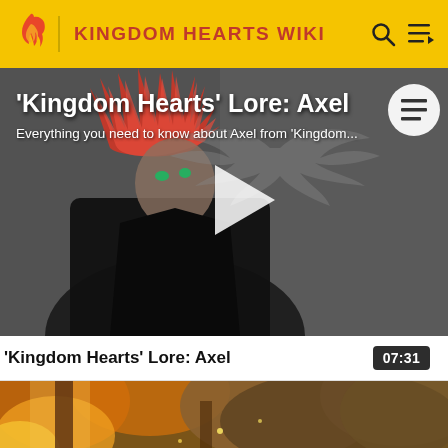KINGDOM HEARTS WIKI
[Figure (screenshot): Video thumbnail showing a Kingdom Hearts character (Axel) with red spiky hair in black coat, sitting in front of a grey background with a winged emblem. A white play button triangle is centered on the image. Title overlay reads 'Kingdom Hearts' Lore: Axel' with subtitle 'Everything you need to know about Axel from Kingdom...']
'Kingdom Hearts' Lore: Axel
07:31
[Figure (screenshot): Partial video thumbnail showing an autumnal forest scene with orange and golden foliage, warm sunlight filtering through trees.]